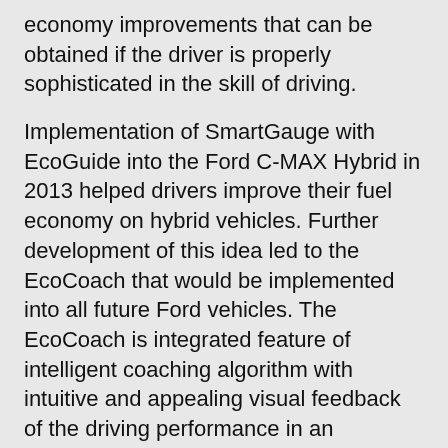economy improvements that can be obtained if the driver is properly sophisticated in the skill of driving.
Implementation of SmartGauge with EcoGuide into the Ford C-MAX Hybrid in 2013 helped drivers improve their fuel economy on hybrid vehicles. Further development of this idea led to the EcoCoach that would be implemented into all future Ford vehicles. The EcoCoach is integrated feature of intelligent coaching algorithm with intuitive and appealing visual feedback of the driving performance in an engaging, instructive, and motivating manner.
The EcoCoach's effectiveness has been evaluated by a sample of drivers in three locations in the US and Germany. Each driver completed a baseline route without coaching followed by a route with coaching. Overall fuel economy improvement is evident, while fuel economy spread across the drivers is reduced. That can be interpreted as